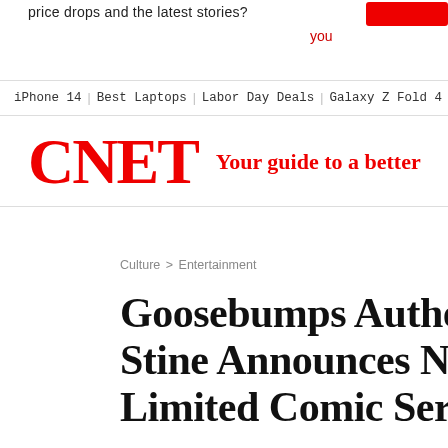price drops and the latest stories?
you
iPhone 14 | Best Laptops | Labor Day Deals | Galaxy Z Fold 4 | Surfs...
[Figure (logo): CNET logo in red bold serif font]
Your guide to a better
Culture > Entertainment
Goosebumps Author Stine Announces New Limited Comic Series